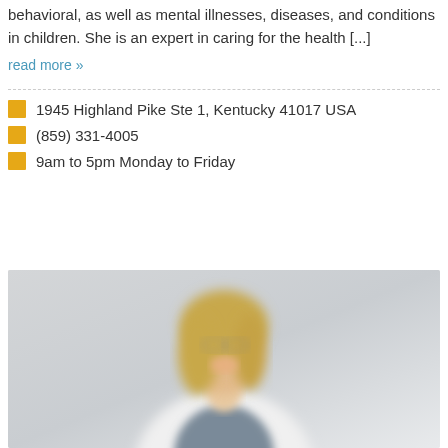behavioral, as well as mental illnesses, diseases, and conditions in children. She is an expert in caring for the health [...]
read more »
1945 Highland Pike Ste 1, Kentucky 41017 USA
(859) 331-4005
9am to 5pm Monday to Friday
[Figure (photo): Blurred photo of a smiling blonde female doctor wearing a white coat, photographed against a light gray background]